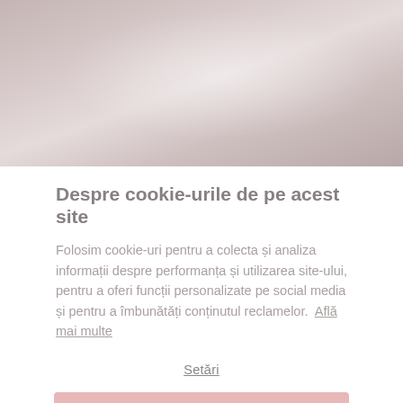[Figure (photo): Photo of hands exchanging something, blurred/muted pink-gray tones, appears to be a business or service interaction.]
Despre cookie-urile de pe acest site
Folosim cookie-uri pentru a colecta și analiza informații despre performanța și utilizarea site-ului, pentru a oferi funcții personalizate pe social media și pentru a îmbunătăți conținutul reclamelor.  Află mai multe
Setări
REFUZAȚI TOATE
PERMITE COOKIE-URI